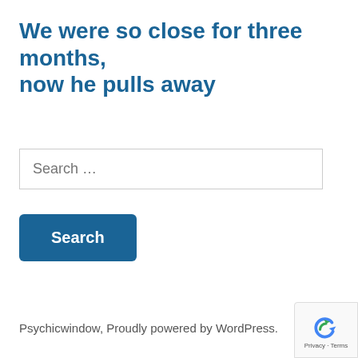We were so close for three months, now he pulls away
Search …
Search
Psychicwindow, Proudly powered by WordPress.